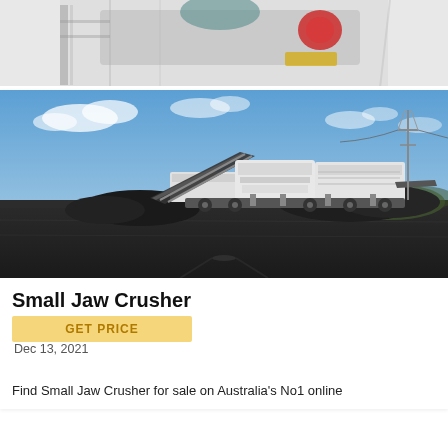[Figure (photo): Partial view of a red and grey industrial crusher machine on white/grey background, cropped at top]
[Figure (photo): Large mobile jaw crusher plant in operation at an open-cut mining or quarry site. The machine is white/grey, set against a blue sky with some clouds. Dark crushed rock/coal surrounds the equipment on a flat open ground.]
Small Jaw Crusher
GET PRICE
Dec 13, 2021
Find Small Jaw Crusher for sale on Australia's No1 online